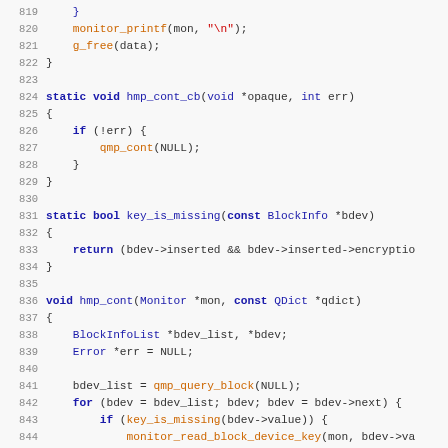[Figure (screenshot): Source code listing in C showing lines 820-851, including functions hmp_cont_cb, key_is_missing, and hmp_cont with syntax highlighting (blue keywords, red strings/function calls).]